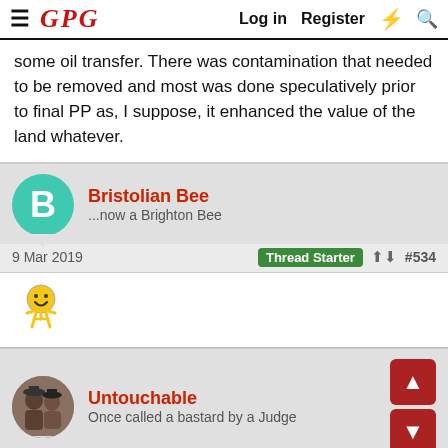GPG — Log in  Register
some oil transfer. There was contamination that needed to be removed and most was done speculatively prior to final PP as, I suppose, it enhanced the value of the land whatever.
Bristolian Bee — ...now a Brighton Bee
9 Mar 2019  Thread Starter  #534
[Figure (illustration): Smiley face emoji / emoticon]
Untouchable — Once called a bastard by a Judge
9 Mar 2019  #535